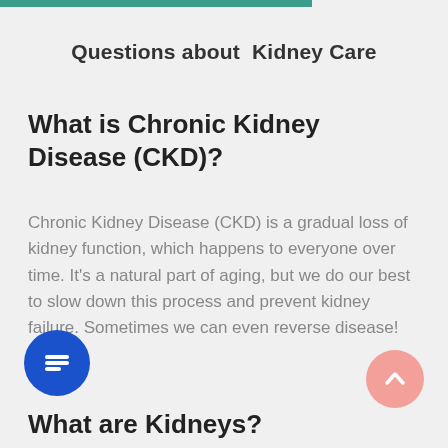Questions about  Kidney Care
What is Chronic Kidney Disease (CKD)?
Chronic Kidney Disease (CKD) is a gradual loss of kidney function, which happens to everyone over time. It's a natural part of aging, but we do our best to slow down this process and prevent kidney failure. Sometimes we can even reverse disease!
What are Kidneys?